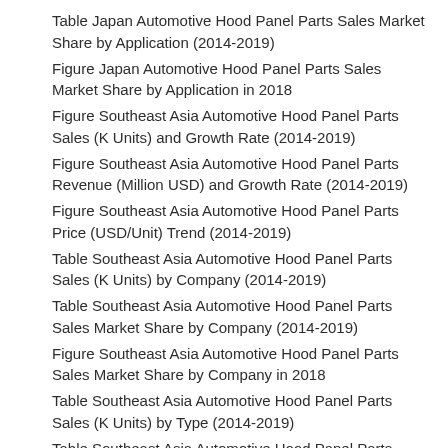Table Japan Automotive Hood Panel Parts Sales Market Share by Application (2014-2019)
Figure Japan Automotive Hood Panel Parts Sales Market Share by Application in 2018
Figure Southeast Asia Automotive Hood Panel Parts Sales (K Units) and Growth Rate (2014-2019)
Figure Southeast Asia Automotive Hood Panel Parts Revenue (Million USD) and Growth Rate (2014-2019)
Figure Southeast Asia Automotive Hood Panel Parts Price (USD/Unit) Trend (2014-2019)
Table Southeast Asia Automotive Hood Panel Parts Sales (K Units) by Company (2014-2019)
Table Southeast Asia Automotive Hood Panel Parts Sales Market Share by Company (2014-2019)
Figure Southeast Asia Automotive Hood Panel Parts Sales Market Share by Company in 2018
Table Southeast Asia Automotive Hood Panel Parts Sales (K Units) by Type (2014-2019)
Table Southeast Asia Automotive Hood Panel Parts Sales Market Share by Type (2014-2019)